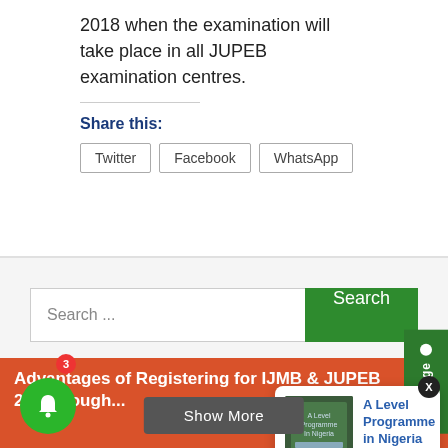2018 when the examination will take place in all JUPEB examination centres.
Share this:
Twitter
Facebook
WhatsApp
Search ...
Advantages of Registering for IJMB & JUPEB 2...through...
[Figure (screenshot): Notification popup card showing 'A Level Programme in Nigeria' with book cover image and '6 hours ago' timestamp]
A Level Programme in Nigeria
6 hours ago
Show More